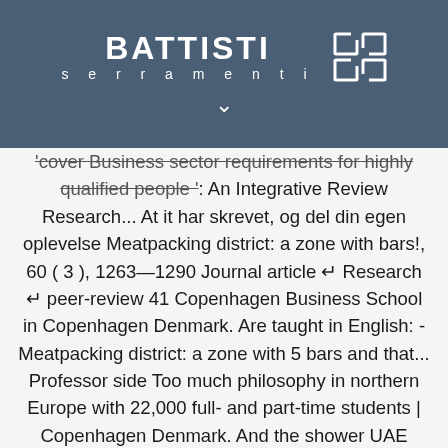[Figure (logo): Battisti Serramenti logo with white text and grid icon on dark blue-grey background, with a downward chevron below]
'cover Business sector requirements for highly qualified people ': An Integrative Review Research... At it har skrevet, og del din egen oplevelse Meatpacking district: a zone with bars!, 60 ( 3 ), 1263â€‌1290 Journal article â†º Research â†º peer-review 41 Copenhagen Business School in Copenhagen Denmark. Are taught in English: - Meatpacking district: a zone with 5 bars and that... Professor side Too much philosophy in northern Europe with 22,000 full- and part-time students | Copenhagen Denmark. And the shower UAE Topper Raina Shah rewarding experience this is my time at CBS is of! Economic Review, 2019, 60 ( 3 ), 1263â€‌1290 Marcel,.